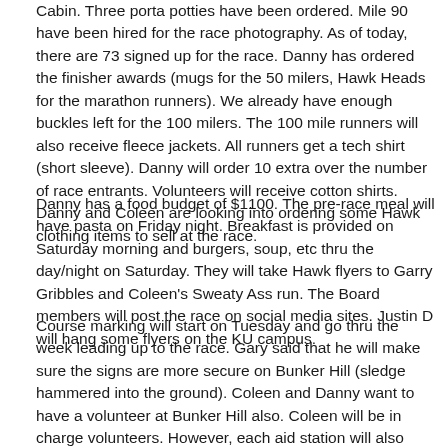Cabin. Three porta potties have been ordered. Mile 90 have been hired for the race photography. As of today, there are 73 signed up for the race. Danny has ordered the finisher awards (mugs for the 50 milers, Hawk Heads for the marathon runners). We already have enough buckles left for the 100 milers. The 100 mile runners will also receive fleece jackets. All runners get a tech shirt (short sleeve). Danny will order 10 extra over the number of race entrants. Volunteers will receive cotton shirts. Danny and Coleen are looking into ordering some Hawk clothing items to sell at the race.
Danny has a food budget of $1100. The pre-race meal will have pasta on Friday night. Breakfast is provided on Saturday morning and burgers, soup, etc thru the day/night on Saturday. They will take Hawk flyers to Garry Gribbles and Coleen's Sweaty Ass run. The Board members will post the race on social media sites. Justin D will hang some flyers on the KU campus.
Course marking will start on Tuesday and go thru the week leading up to the race. Gary said that he will make sure the signs are more secure on Bunker Hill (sledge hammered into the ground). Coleen and Danny want to have a volunteer at Bunker Hill also. Coleen will be in charge volunteers. However, each aid station will also need to find their own volunteers. The Hawk board members will be in